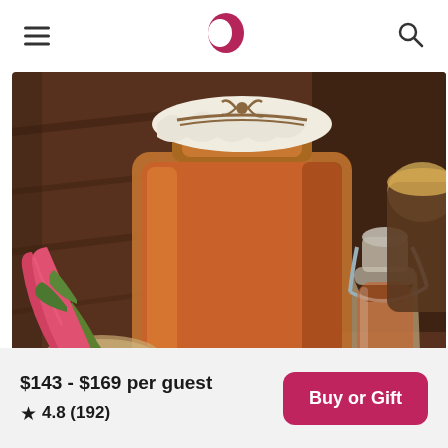≡  [logo]  🔍
[Figure (photo): Fermented kombucha tea in glass jars with rhubarb stalks on a wooden surface]
$143 - $169 per guest
★ 4.8 (192)